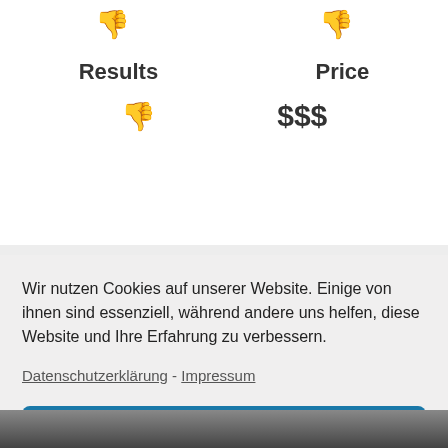[Figure (other): Thumbs down icons in dark red at top of page]
Results    Price
$$$
Wir nutzen Cookies auf unserer Website. Einige von ihnen sind essenziell, während andere uns helfen, diese Website und Ihre Erfahrung zu verbessern.
Datenschutzerklärung - Impressum
Alle akzeptieren
Einstellungen